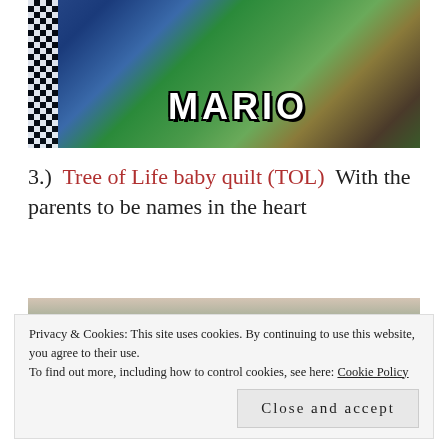[Figure (photo): A quilt with 'MARIO' text appliqued in large black-outlined white letters on a green patterned fabric background, with a black and white checkerboard border on the left side.]
3.) Tree of Life baby quilt (TOL) With the parents to be names in the heart
[Figure (photo): Partial view of a quilt with triangular patchwork pattern in muted greens and grays laid out on grass.]
Privacy & Cookies: This site uses cookies. By continuing to use this website, you agree to their use. To find out more, including how to control cookies, see here: Cookie Policy
Close and accept